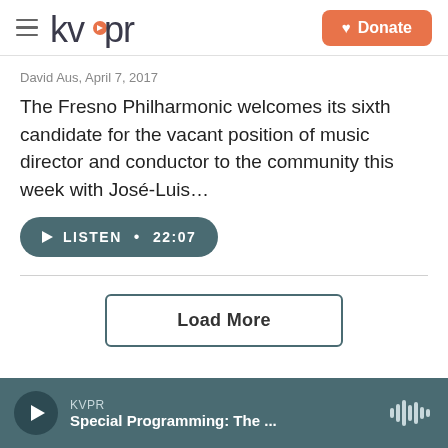kvpr — Donate
David Aus,  April 7, 2017
The Fresno Philharmonic welcomes its sixth candidate for the vacant position of music director and conductor to the community this week with José-Luis…
LISTEN • 22:07
Load More
KVPR — Special Programming: The ...